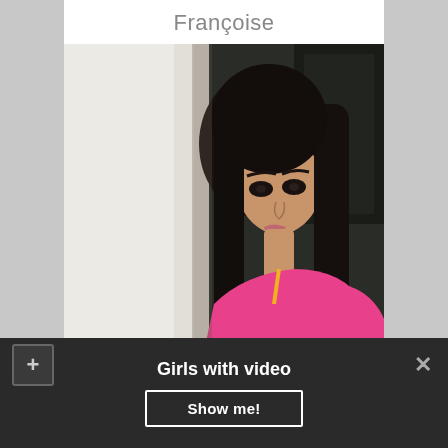Françoise
[Figure (photo): Young woman with long dark hair wearing a pink top, leaning against a white pillar, looking over her shoulder toward the camera.]
Girls with video
Show me!